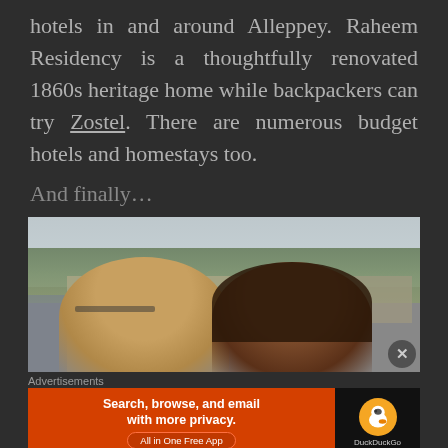hotels in and around Alleppey. Raheem Residency is a thoughtfully renovated 1860s heritage home while backpackers can try Zostel. There are numerous budget hotels and homestays too.
And finally…
[Figure (photo): A photo of two people (a man and a woman) posing together outdoors near a waterway, with trees and simple buildings visible in the background.]
Advertisements
[Figure (screenshot): DuckDuckGo advertisement banner: 'Search, browse, and email with more privacy. All in One Free App' on an orange background with DuckDuckGo logo on dark background.]